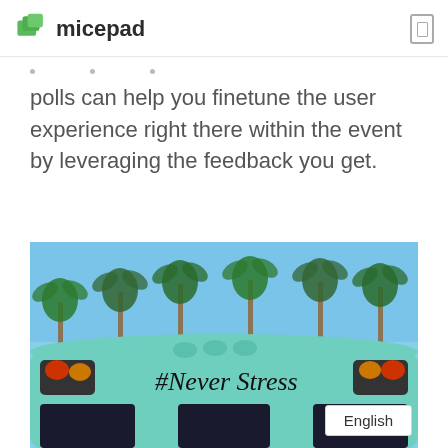micepad
polls can help you finetune the user experience right there within the event by leveraging the feedback you get.
[Figure (photo): Photo of the back of a mint green bus with '#Never Stress' written on it, palm trees and blue sky in the background.]
English